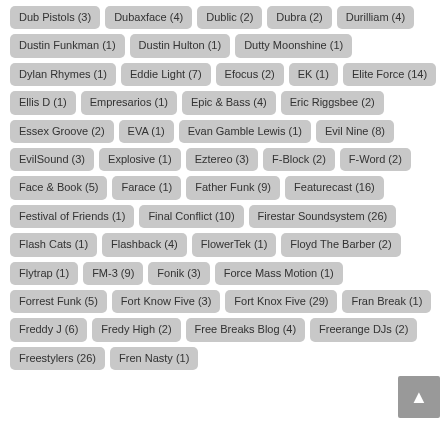Dub Pistols (3)
Dubaxface (4)
Dublic (2)
Dubra (2)
Durilliam (4)
Dustin Funkman (1)
Dustin Hulton (1)
Dutty Moonshine (1)
Dylan Rhymes (1)
Eddie Light (7)
Efocus (2)
EK (1)
Elite Force (14)
Ellis D (1)
Empresarios (1)
Epic & Bass (4)
Eric Riggsbee (2)
Essex Groove (2)
EVA (1)
Evan Gamble Lewis (1)
Evil Nine (8)
EvilSound (3)
Explosive (1)
Eztereo (3)
F-Block (2)
F-Word (2)
Face & Book (5)
Farace (1)
Father Funk (9)
Featurecast (16)
Festival of Friends (1)
Final Conflict (10)
Firestar Soundsystem (26)
Flash Cats (1)
Flashback (4)
FlowerTek (1)
Floyd The Barber (2)
Flytrap (1)
FM-3 (9)
Fonik (3)
Force Mass Motion (1)
Forrest Funk (5)
Fort Know Five (3)
Fort Knox Five (29)
Fran Break (1)
Freddy J (6)
Fredy High (2)
Free Breaks Blog (4)
Freerange DJs (2)
Freestylers (26)
Fren Nasty (1)